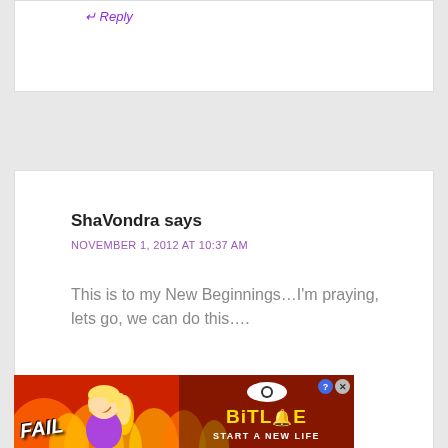Reply
ShaVondra says
NOVEMBER 1, 2012 AT 10:37 AM
This is to my New Beginnings…I'm praying, lets go, we can do this….
Reply
[Figure (photo): BitLife advertisement banner with FAIL text, cartoon character, flames, and 'START A NEW LIFE' tagline]